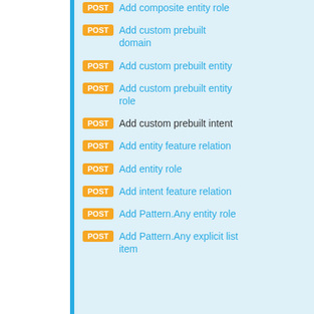POST Add composite entity role
POST Add custom prebuilt domain
POST Add custom prebuilt entity
POST Add custom prebuilt entity role
POST Add custom prebuilt intent
POST Add entity feature relation
POST Add entity role
POST Add intent feature relation
POST Add Pattern.Any entity role
POST Add Pattern.Any explicit list item